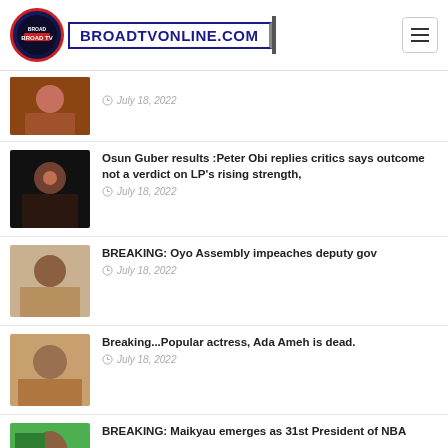[Figure (logo): BroadTVOnline.com logo with circular emblem and text]
July 18, 2022
Osun Guber results :Peter Obi replies critics says outcome not a verdict on LP's rising strength, | July 18, 2022
BREAKING: Oyo Assembly impeaches deputy gov | July 18, 2022
Breaking...Popular actress, Ada Ameh is dead. | July 18, 2022
BREAKING: Maikyau emerges as 31st President of NBA